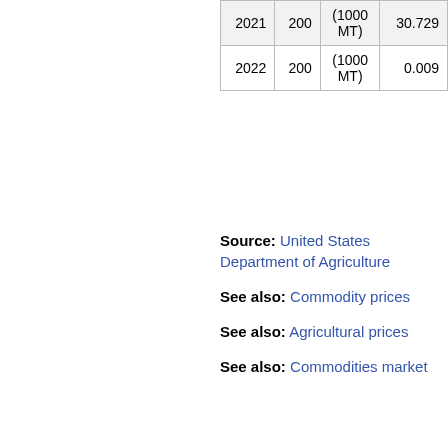| 2021 | 200 | (1000 MT) | 30.729 |
| 2022 | 200 | (1000 MT) | 0.009 |
Source: United States Department of Agriculture
See also: Commodity prices
See also: Agricultural prices
See also: Commodities market